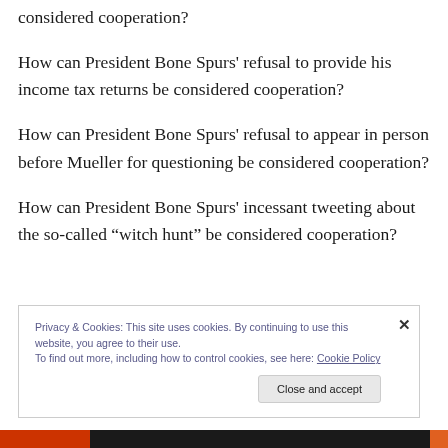considered cooperation?
How can President Bone Spurs’ refusal to provide his income tax returns be considered cooperation?
How can President Bone Spurs’ refusal to appear in person before Mueller for questioning be considered cooperation?
How can President Bone Spurs’ incessant tweeting about the so-called “witch hunt” be considered cooperation?
Privacy & Cookies: This site uses cookies. By continuing to use this website, you agree to their use.
To find out more, including how to control cookies, see here: Cookie Policy
Close and accept